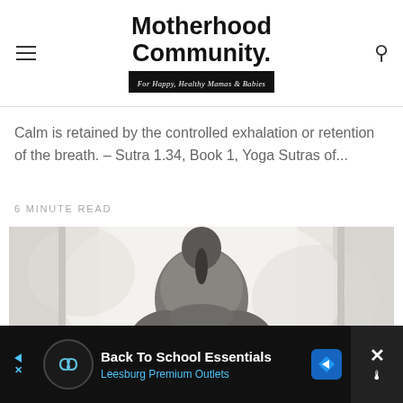Motherhood Community. For Happy, Healthy Mamas & Babies
Calm is retained by the controlled exhalation or retention of the breath. - Sutra 1.34, Book 1, Yoga Sutras of...
6 MINUTE READ
[Figure (photo): Woman in grey knit top sitting cross-legged in meditative pose, viewed from behind, facing a window with soft light.]
BREATHE
[Figure (other): Advertisement banner: Back To School Essentials - Leesburg Premium Outlets, with logo and navigation arrow icon.]